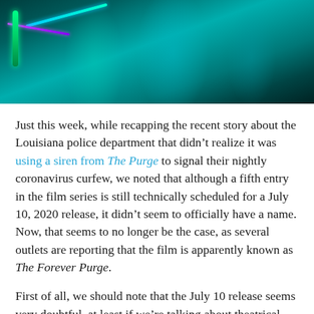[Figure (photo): Dark teal/cyan toned image showing a figure in a dark environment with neon green and purple light streaks, likely a still from The Purge film series]
Just this week, while recapping the recent story about the Louisiana police department that didn't realize it was using a siren from The Purge to signal their nightly coronavirus curfew, we noted that although a fifth entry in the film series is still technically scheduled for a July 10, 2020 release, it didn't seem to officially have a name. Now, that seems to no longer be the case, as several outlets are reporting that the film is apparently known as The Forever Purge.
First of all, we should note that the July 10 release seems very doubtful, at least if we're talking about theatrical screenings. With the nation's pandemic measures still at their height, early July is likely very optimistic in terms of large-